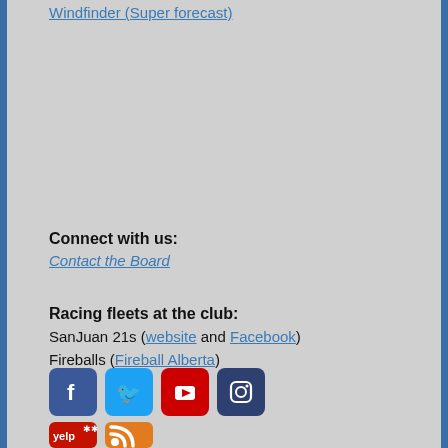Windfinder (Super forecast)
Connect with us:
Contact the Board
Racing fleets at the club:
SanJuan 21s (website and Facebook)
Fireballs (Fireball Alberta)
[Figure (infographic): Social media icons: Facebook, Twitter, YouTube, Instagram]
[Figure (infographic): Yelp and RSS feed icons]